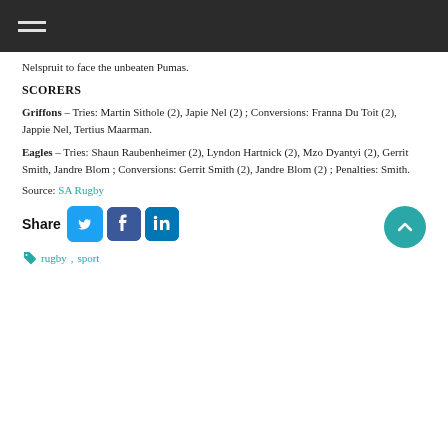Nelspruit to face the unbeaten Pumas.
SCORERS
Griffons – Tries: Martin Sithole (2), Japie Nel (2) ; Conversions: Franna Du Toit (2), Jappie Nel, Tertius Maarman.
Eagles – Tries: Shaun Raubenheimer (2), Lyndon Hartnick (2), Mzo Dyantyi (2), Gerrit Smith, Jandre Blom ; Conversions: Gerrit Smith (2), Jandre Blom (2) ; Penalties: Smith.
Source: SA Rugby
[Figure (infographic): Share bar with Twitter, Facebook, and LinkedIn social media icons, and a scroll-to-top button]
rugby, sport